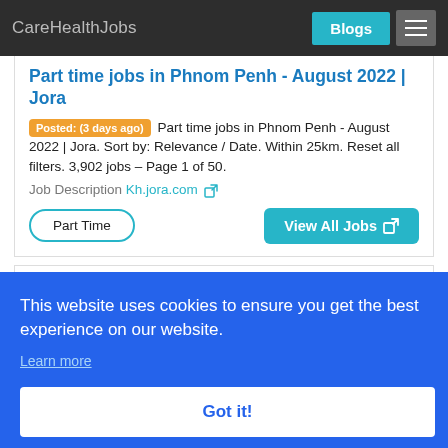CareHealthJobs
Part time jobs in Phnom Penh - August 2022 | Jora
Posted: (3 days ago) Part time jobs in Phnom Penh - August 2022 | Jora. Sort by: Relevance / Date. Within 25km. Reset all filters. 3,902 jobs – Page 1 of 50.
Job Description Kh.jora.com
Part Time
View All Jobs
This website uses cookies to ensure you get the best experience on our website.
Learn more
Got it!